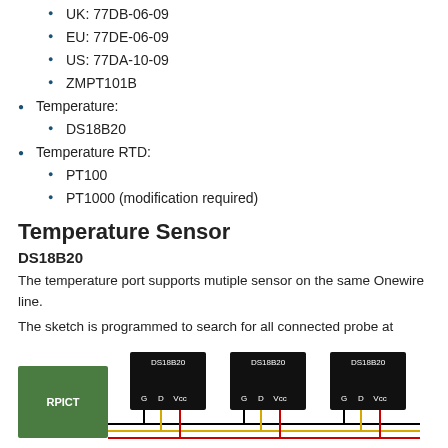UK: 77DB-06-09
EU: 77DE-06-09
US: 77DA-10-09
ZMPT101B
Temperature:
DS18B20
Temperature RTD:
PT100
PT1000 (modification required)
Temperature Sensor
DS18B20
The temperature port supports mutiple sensor on the same Onewire line.
The sketch is programmed to search for all connected probe at bootup and output all their values when polled.
Multiple probes should connected as shown below.
[Figure (schematic): Wiring diagram showing an RPICT module connected to three DS18B20 temperature sensors in parallel on a Onewire bus, each sensor labeled with G, D, Vcc pins and colored wires (black, yellow, red).]